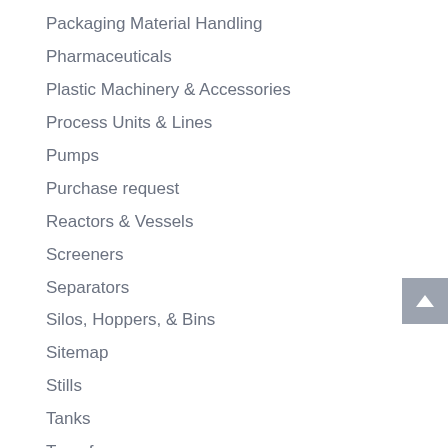Packaging Material Handling
Pharmaceuticals
Plastic Machinery & Accessories
Process Units & Lines
Pumps
Purchase request
Reactors & Vessels
Screeners
Separators
Silos, Hoppers, & Bins
Sitemap
Stills
Tanks
Transformers
Turbines
Used Heat Exchangers
Used Weigh Scale...